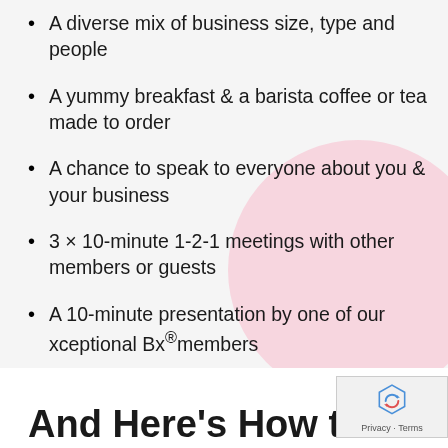A diverse mix of business size, type and people
A yummy breakfast & a barista coffee or tea made to order
A chance to speak to everyone about you & your business
3 × 10-minute 1-2-1 meetings with other members or guests
A 10-minute presentation by one of our xceptional Bx®members
And Here's How the